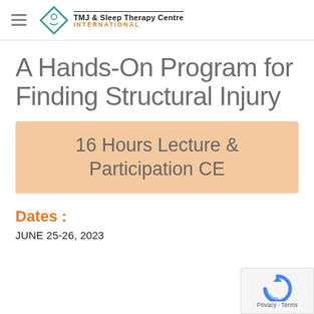TMJ & Sleep Therapy Centre INTERNATIONAL
A Hands-On Program for Finding Structural Injury
16 Hours Lecture & Participation CE
Dates :
JUNE 25-26, 2023